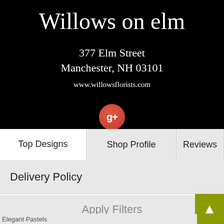Willows on elm
377 Elm Street
Manchester, NH 03101
www.willowsflorists.com
[Figure (logo): Google+ red circular button with g+ label]
Top Designs
Shop Profile
Reviews
Delivery Policy
Apply Filters
Elegant Pastels